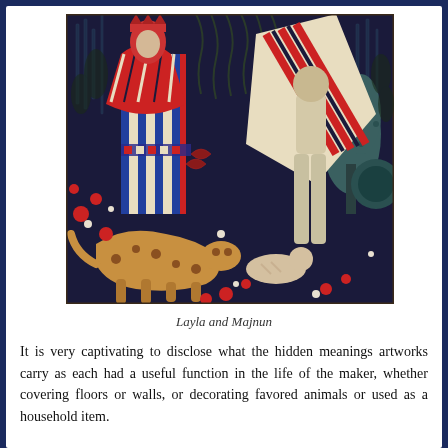[Figure (illustration): A detail of a decorative carpet or tapestry depicting the story of Layla and Majnun. The scene shows figures in striped robes on a dark navy background densely filled with floral motifs, animals (a leopard, a cat), and stylized trees rendered in red, blue, cream, and green.]
Layla and Majnun
It is very captivating to disclose what the hidden meanings artworks carry as each had a useful function in the life of the maker, whether covering floors or walls, or decorating favored animals or used as a household item.